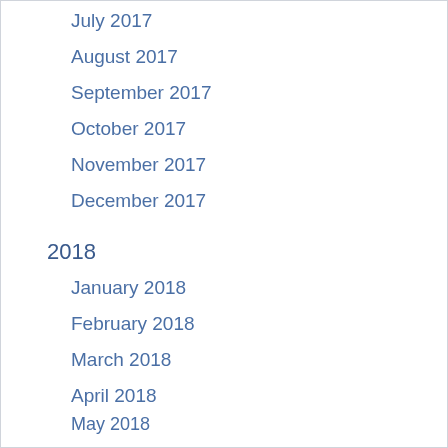July 2017
August 2017
September 2017
October 2017
November 2017
December 2017
2018
January 2018
February 2018
March 2018
April 2018
May 2018
June 2018